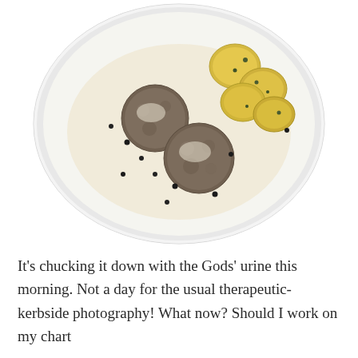[Figure (photo): A white plate viewed from above containing three meatballs in a creamy white sauce with black peppercorns, and several boiled potatoes with capers on the right side.]
It's chucking it down with the Gods' urine this morning. Not a day for the usual therapeutic-kerbside photography! What now? Should I work on my chart